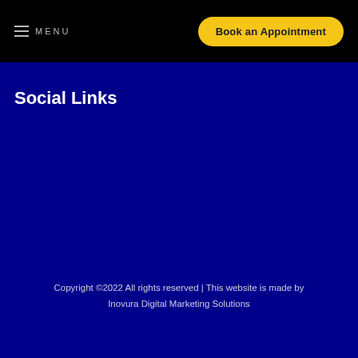MENU  |  Book an Appointment
Social Links
Copyright ©2022 All rights reserved | This website is made by Inovura Digital Marketing Solutions